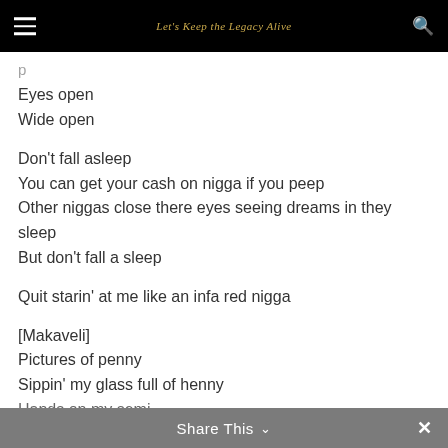Let's Keep the Legacy Alive
Eyes open
Wide open
Don't fall asleep
You can get your cash on nigga if you peep
Other niggas close there eyes seeing dreams in they sleep
But don't fall a sleep
Quit starin' at me like an infa red nigga
[Makaveli]
Pictures of penny
Sippin' my glass full of henny
Hands on my semi-
Share This